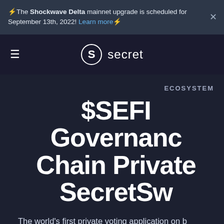⚡️The Shockwave Delta mainnet upgrade is scheduled for September 13th, 2022! Learn more⚡️
[Figure (logo): Secret Network logo with hamburger menu icon — circular S logo and the word 'secret']
ECOSYSTEM
$SEFI Governance Chain Private SecretSw
The world's first private voting application on blockchain has launched on mainnet! Learn how $SEFI is u